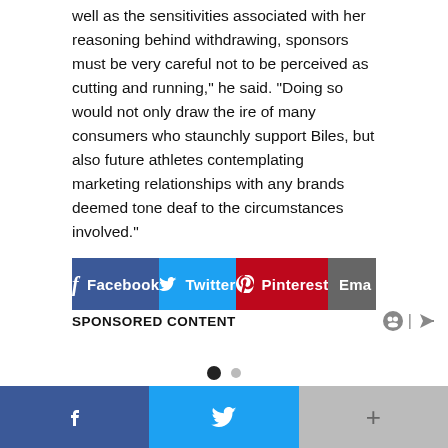well as the sensitivities associated with her reasoning behind withdrawing, sponsors must be very careful not to be perceived as cutting and running," he said. “Doing so would not only draw the ire of many consumers who staunchly support Biles, but also future athletes contemplating marketing relationships with any brands deemed tone deaf to the circumstances involved.”
[Figure (screenshot): Social share buttons: Facebook (blue), Twitter (light blue), Pinterest (red), Email (gray)]
SPONSORED CONTENT
[Figure (other): Pagination dots: one filled dark dot and one smaller gray dot]
[Figure (screenshot): Load comments button with blue gradient]
Bottom share bar with Facebook, Twitter, and more (+) buttons